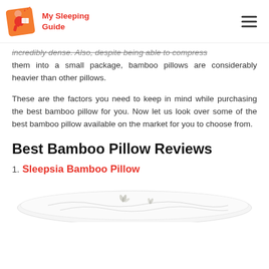My Sleeping Guide
incredibly dense. Also, despite being able to compress them into a small package, bamboo pillows are considerably heavier than other pillows.
These are the factors you need to keep in mind while purchasing the best bamboo pillow for you. Now let us look over some of the best bamboo pillow available on the market for you to choose from.
Best Bamboo Pillow Reviews
1. Sleepsia Bamboo Pillow
[Figure (photo): White bamboo pillow with bamboo leaf print on cover]